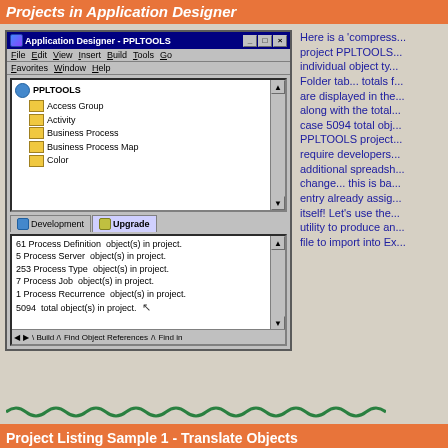Projects in Application Designer
[Figure (screenshot): Application Designer - PPLTOOLS window showing a tree view with PPLTOOLS project containing Access Group, Activity, Business Process, Business Process Map, Color folders. Development and Upgrade tabs. Output pane showing: 61 Process Definition object(s) in project, 5 Process Server object(s) in project, 253 Process Type object(s) in project, 7 Process Job object(s) in project, 1 Process Recurrence object(s) in project, 5094 total object(s) in project. Build, Find Object References, Find in tabs at bottom.]
Here is a 'compress... project PPLTOOLS... individual object ty... Folder tab... totals f... are displayed in the... along with the total... case 5094 total obj... PPLTOOLS project... require developers... additional spreadsh... change... this is ba... entry already assig... itself! Let's use the... utility to produce an... file to import into Ex...
Project Listing Sample 1 - Translate Objects